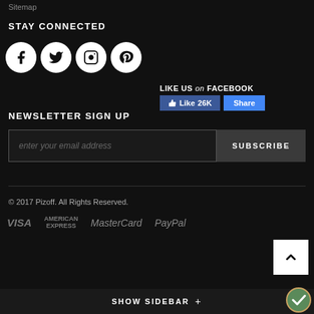Sitemap
STAY CONNECTED
[Figure (infographic): Social media icons row: Facebook, Twitter, Instagram, Pinterest as white circles on black background, plus Facebook Like 26K and Share buttons]
NEWSLETTER SIGN UP
enter your email address
SUBSCRIBE
© 2017 Pizoff. All Rights Reserved.
[Figure (logo): Payment method logos: VISA, AMERICAN EXPRESS, MasterCard, PayPal in gray text]
SHOW SIDEBAR +